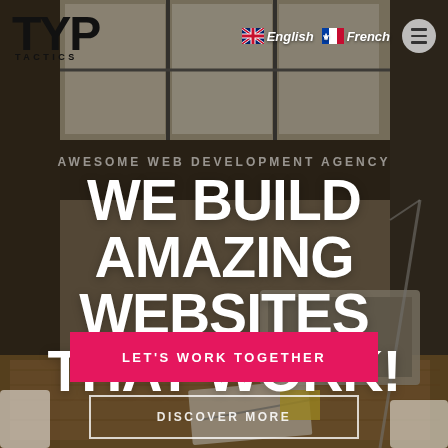[Figure (screenshot): Office background photo showing a desk with laptop, notebooks, and industrial workspace with large windows]
TYP TACTICS | English | French | Menu
AWESOME WEB DEVELOPMENT AGENCY
WE BUILD AMAZING WEBSITES THAT WORK!
LET'S WORK TOGETHER
DISCOVER MORE